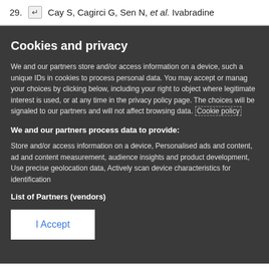29. ↵ Cay S, Cagirci G, Sen N, et al. Ivabradine
Cookies and privacy
We and our partners store and/or access information on a device, such as unique IDs in cookies to process personal data. You may accept or manage your choices by clicking below, including your right to object where legitimate interest is used, or at any time in the privacy policy page. These choices will be signaled to our partners and will not affect browsing data. Cookie policy
We and our partners process data to provide:
Store and/or access information on a device, Personalised ads and content, ad and content measurement, audience insights and product development, Use precise geolocation data, Actively scan device characteristics for identification
List of Partners (vendors)
I Accept